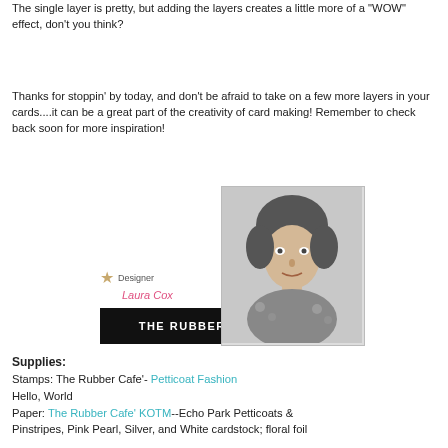The single layer is pretty, but adding the layers creates a little more of a "WOW" effect, don't you think?
Thanks for stoppin' by today, and don't be afraid to take on a few more layers in your cards....it can be a great part of the creativity of card making!  Remember to check back soon for more inspiration!
[Figure (photo): Designer badge with star icon, 'Designer Laura Cox' text, 'THE RUBBER CAFE' black banner with arrow shape, and a black and white portrait photo of a woman with short curly hair]
Supplies:
Stamps: The Rubber Cafe'- Petticoat Fashion
Hello, World
Paper: The Rubber Cafe' KOTM--Echo Park Petticoats & Pinstripes, Pink Pearl, Silver, and White cardstock; floral foil